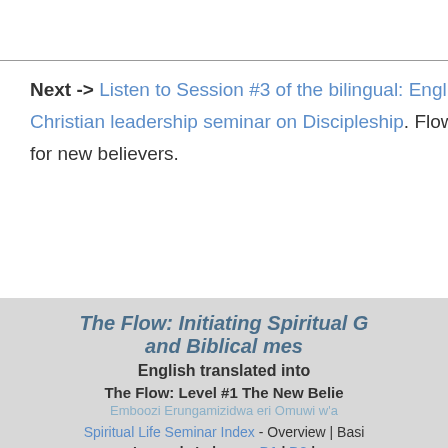Next -> Listen to Session #3 of the bilingual: English-L... Christian leadership seminar on Discipleship. Flow Lev... for new believers.
The Flow: Initiating Spiritual G... and Biblical mes...
English translated into...
The Flow: Level #1 The New Belie... Emboozi Erungamizidwa eri Omuwi w'a...
Spiritual Life Seminar Index - Overview | Basic...
Luganda Indexes - D1 | D2 |...